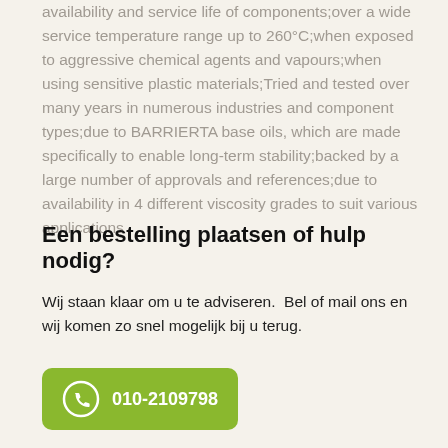availability and service life of components;over a wide service temperature range up to 260°C;when exposed to aggressive chemical agents and vapours;when using sensitive plastic materials;Tried and tested over many years in numerous industries and component types;due to BARRIERTA base oils, which are made specifically to enable long-term stability;backed by a large number of approvals and references;due to availability in 4 different viscosity grades to suit various applications
Een bestelling plaatsen of hulp nodig?
Wij staan klaar om u te adviseren.  Bel of mail ons en wij komen zo snel mogelijk bij u terug.
[Figure (infographic): Green rounded button with telephone icon and phone number 010-2109798]